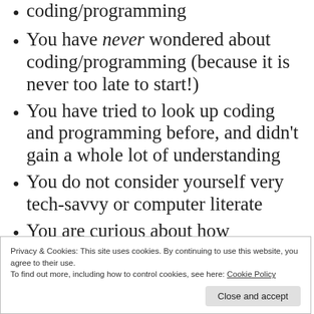coding/programming
You have never wondered about coding/programming (because it is never too late to start!)
You have tried to look up coding and programming before, and didn't gain a whole lot of understanding
You do not consider yourself very tech-savvy or computer literate
You are curious about how someone who meets the above criteria might explain
Privacy & Cookies: This site uses cookies. By continuing to use this website, you agree to their use.
To find out more, including how to control cookies, see here: Cookie Policy
Close and accept